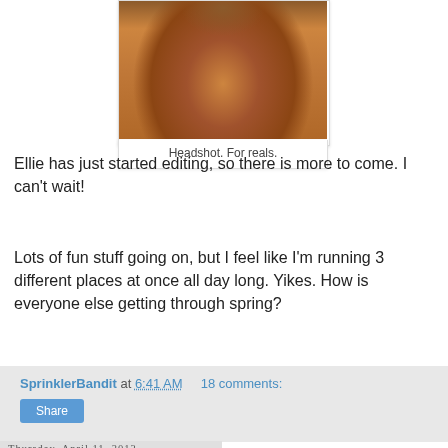[Figure (photo): Close-up photo of a brown/chestnut horse body, showing neck and shoulder area. The horse appears reddish-brown in color.]
Headshot. For reals.
Ellie has just started editing, so there is more to come. I can't wait!
Lots of fun stuff going on, but I feel like I'm running 3 different places at once all day long. Yikes. How is everyone else getting through spring?
SprinklerBandit at 6:41 AM   18 comments:
Share
Thursday, April 11, 2013
Short Post